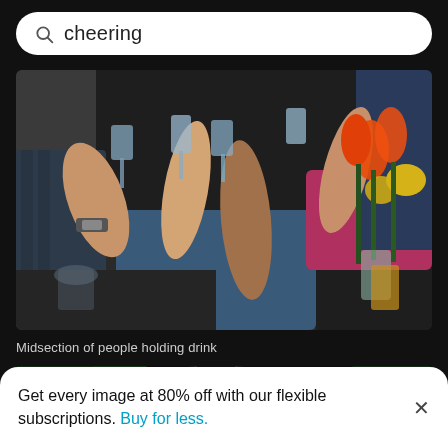cheering
[Figure (photo): Midsection of people holding drink glasses up in a cheers/toast, with orange tulips and yellow flowers visible in the background on the right side]
Midsection of people holding drink
[Figure (photo): Dark moody overhead table setting with pine branches, gold/brass plates, white folded napkin, gold fork, and berries]
Get every image at 80% off with our flexible subscriptions. Buy for less.